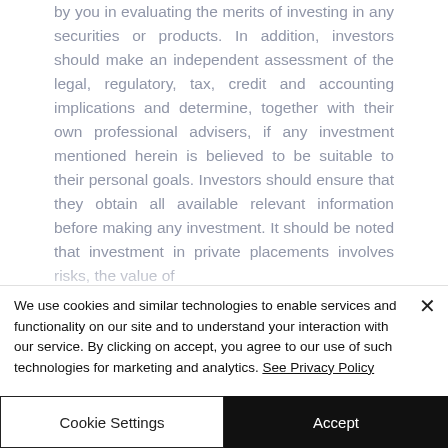by you in evaluating the merits of investing in any securities or products. In addition, investors should make an independent assessment of the legal, regulatory, tax, credit and accounting implications and determine, together with their own professional advisers, if any investment mentioned herein is believed to be suitable to their personal goals. Investors should ensure that they obtain all available relevant information before making any investment. It should be noted that investment in private placements involves risks, the value of
We use cookies and similar technologies to enable services and functionality on our site and to understand your interaction with our service. By clicking on accept, you agree to our use of such technologies for marketing and analytics. See Privacy Policy